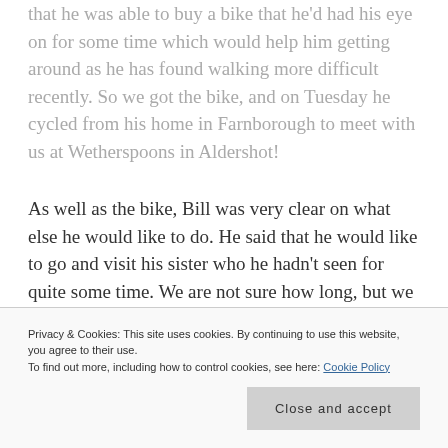that he was able to buy a bike that he'd had his eye on for some time which would help him getting around as he has found walking more difficult recently. So we got the bike, and on Tuesday he cycled from his home in Farnborough to meet with us at Wetherspoons in Aldershot!
As well as the bike, Bill was very clear on what else he would like to do. He said that he would like to go and visit his sister who he hadn't seen for quite some time. We are not sure how long, but we are talking many years I think. As a small bit of background, Bill and his older
Privacy & Cookies: This site uses cookies. By continuing to use this website, you agree to their use.
To find out more, including how to control cookies, see here: Cookie Policy